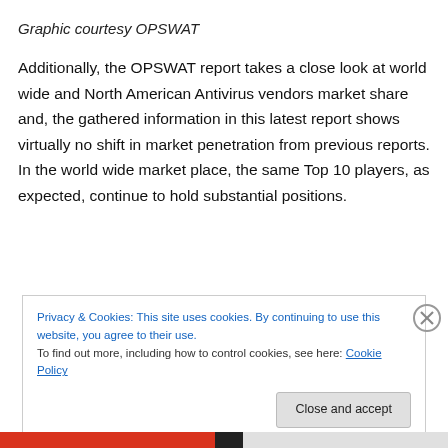Graphic courtesy OPSWAT
Additionally, the OPSWAT report takes a close look at world wide and North American Antivirus vendors market share and, the gathered information in this latest report shows virtually no shift in market penetration from previous reports. In the world wide market place, the same Top 10 players, as expected, continue to hold substantial positions.
Privacy & Cookies: This site uses cookies. By continuing to use this website, you agree to their use.
To find out more, including how to control cookies, see here: Cookie Policy